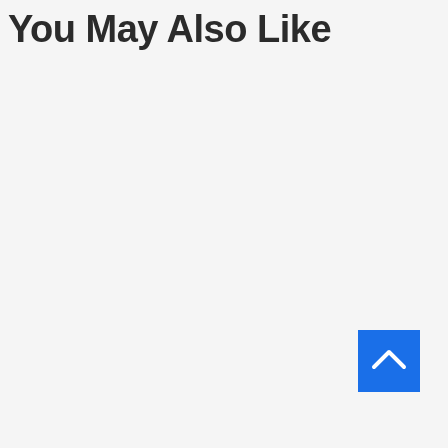You May Also Like
[Figure (other): Blue square button with a white upward-pointing chevron arrow icon, positioned in the lower right area of the page]